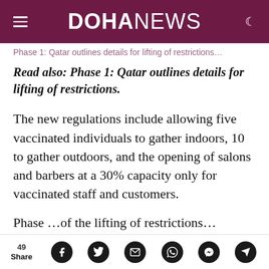DOHA NEWS
…linking to previous article…
Read also: Phase 1: Qatar outlines details for lifting of restrictions.
The new regulations include allowing five vaccinated individuals to gather indoors, 10 to gather outdoors, and the opening of salons and barbers at a 30% capacity only for vaccinated staff and customers.
Phase …of the lifting of restrictions…
49 Share [social icons: Facebook, Twitter, Email, WhatsApp, Messenger, Telegram]